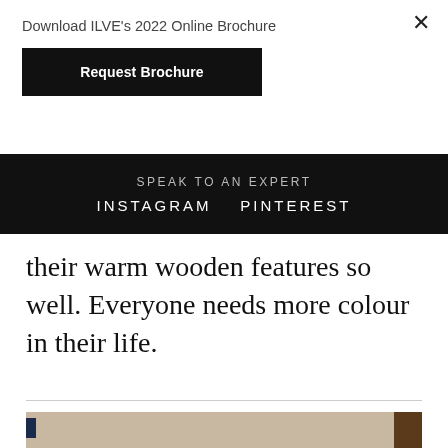Download ILVE's 2022 Online Brochure
Request Brochure
×
SPEAK TO AN EXPERT
INSTAGRAM   PINTEREST
their warm wooden features so well. Everyone needs more colour in their life.
[Figure (photo): Interior photo showing wooden beam elements and dark blue cabinet with copper/gold fixture details]